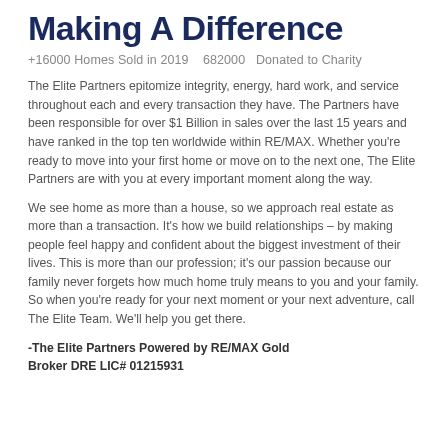Making A Difference
+16000 Homes Sold in 2019    682000  Donated to Charity
The Elite Partners epitomize integrity, energy, hard work, and service throughout each and every transaction they have. The Partners have been responsible for over $1 Billion in sales over the last 15 years and have ranked in the top ten worldwide within RE/MAX. Whether you're ready to move into your first home or move on to the next one, The Elite Partners are with you at every important moment along the way.
We see home as more than a house, so we approach real estate as more than a transaction. It's how we build relationships – by making people feel happy and confident about the biggest investment of their lives. This is more than our profession; it's our passion because our family never forgets how much home truly means to you and your family. So when you're ready for your next moment or your next adventure, call The Elite Team. We'll help you get there.
-The Elite Partners Powered by RE/MAX Gold Broker DRE LIC# 01215931